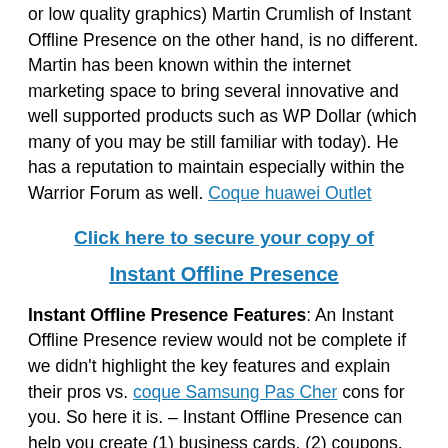or low quality graphics) Martin Crumlish of Instant Offline Presence on the other hand, is no different. Martin has been known within the internet marketing space to bring several innovative and well supported products such as WP Dollar (which many of you may be still familiar with today). He has a reputation to maintain especially within the Warrior Forum as well. Coque huawei Outlet
Click here to secure your copy of

Instant Offline Presence
Instant Offline Presence Features: An Instant Offline Presence review would not be complete if we didn't highlight the key features and explain their pros vs. coque Samsung Pas Cher cons for you. So here it is. – Instant Offline Presence can help you create (1) business cards, (2) coupons, (3) envelopes, (4) flyer ads, (6) Gift certificates, (7) loyalty cards, (8) Post cards, (9) thank you cards, (10) tickets